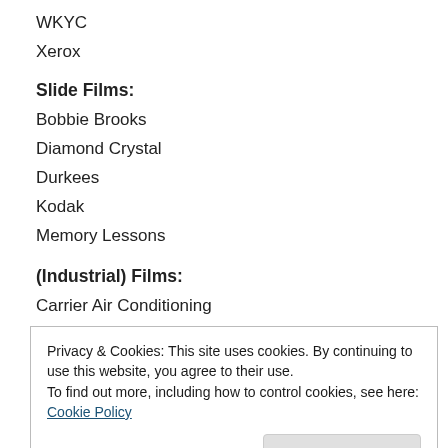WKYC
Xerox
Slide Films:
Bobbie Brooks
Diamond Crystal
Durkees
Kodak
Memory Lessons
(Industrial) Films:
Carrier Air Conditioning
Privacy & Cookies: This site uses cookies. By continuing to use this website, you agree to their use.
To find out more, including how to control cookies, see here: Cookie Policy
Industrial Shows: